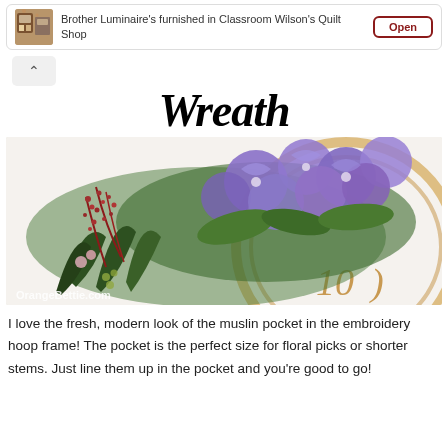[Figure (infographic): Banner ad showing Brother Luminaire's sewing machine in a quilt shop classroom with an Open button]
Wreath
[Figure (photo): Close-up photo of an embroidery hoop wreath with purple hydrangeas, red berry sprigs, and green foliage. Watermark reads OrangeBettie.com]
I love the fresh, modern look of the muslin pocket in the embroidery hoop frame! The pocket is the perfect size for floral picks or shorter stems. Just line them up in the pocket and you're good to go!